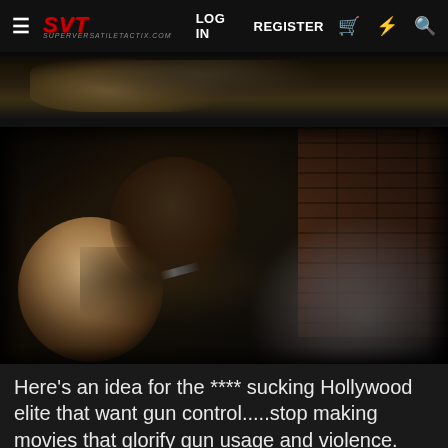SVT — LOG IN   REGISTER
[Figure (photo): Top portion of a movie action scene — partially visible, dark cinematic tones with figures in combat gear]
[Figure (photo): Movie still showing two men in a confrontation — one man pressing another against a brick wall, both in tactical/military clothing, dramatic dark lighting, blurred foreground elements]
Here's an idea for the **** sucking Hollywood elite that want gun control.....stop making movies that glorify gun usage and violence. Until then shut the